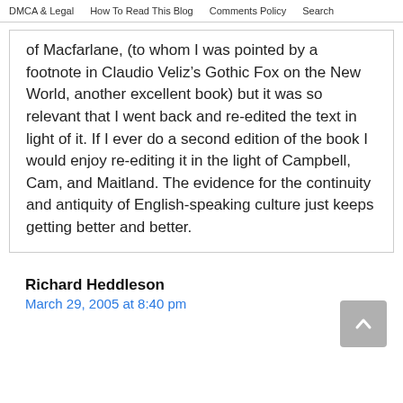DMCA & Legal   How To Read This Blog   Comments Policy   Search
of Macfarlane, (to whom I was pointed by a footnote in Claudio Veliz’s Gothic Fox on the New World, another excellent book) but it was so relevant that I went back and re-edited the text in light of it. If I ever do a second edition of the book I would enjoy re-editing it in the light of Campbell, Cam, and Maitland. The evidence for the continuity and antiquity of English-speaking culture just keeps getting better and better.
Richard Heddleson
March 29, 2005 at 8:40 pm